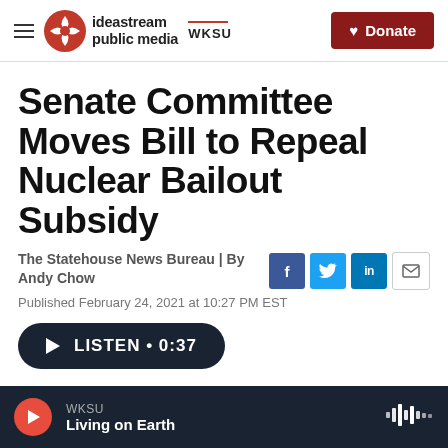ideastream public media | WKSU | Donate
Senate Committee Moves Bill to Repeal Nuclear Bailout Subsidy
The Statehouse News Bureau | By Andy Chow
Published February 24, 2021 at 10:27 PM EST
LISTEN • 0:37
WKSU Living on Earth